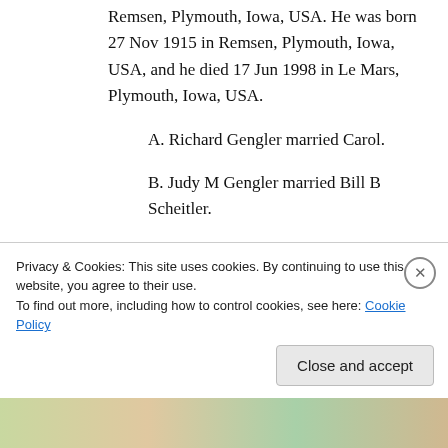Remsen, Plymouth, Iowa, USA. He was born 27 Nov 1915 in Remsen, Plymouth, Iowa, USA, and he died 17 Jun 1998 in Le Mars, Plymouth, Iowa, USA.
A. Richard Gengler married Carol.
B. Judy M Gengler married Bill B Scheitler.
3. Norma Anna Loutsch was born 20 Jun 1924 in Remsen, Plymouth, Iowa, USA, and she died 21 Jun 1924 in Remsen, Plymouth
Privacy & Cookies: This site uses cookies. By continuing to use this website, you agree to their use.
To find out more, including how to control cookies, see here: Cookie Policy